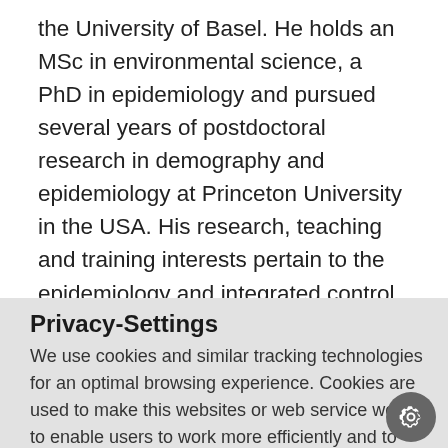the University of Basel. He holds an MSc in environmental science, a PhD in epidemiology and pursued several years of postdoctoral research in demography and epidemiology at Princeton University in the USA. His research, teaching and training interests pertain to the epidemiology and integrated control of neglected tropical diseases and health impact
Privacy-Settings
We use cookies and similar tracking technologies for an optimal browsing experience. Cookies are used to make this websites or web service work, to enable users to work more efficiently and to provide reporting information.
Accept
More information